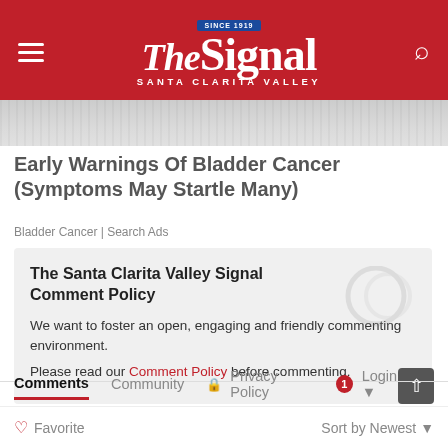The Signal — Santa Clarita Valley
[Figure (photo): Partial article image strip at top of content]
Early Warnings Of Bladder Cancer (Symptoms May Startle Many)
Bladder Cancer | Search Ads
The Santa Clarita Valley Signal Comment Policy
We want to foster an open, engaging and friendly commenting environment.
Please read our Comment Policy before commenting.
Comments  Community  🔒 Privacy Policy  1  Login
Favorite  Sort by Newest